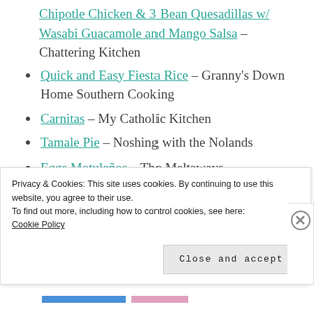Chipotle Chicken & 3 Bean Quesadillas w/ Wasabi Guacamole and Mango Salsa – Chattering Kitchen
Quick and Easy Fiesta Rice – Granny's Down Home Southern Cooking
Carnitas – My Catholic Kitchen
Tamale Pie – Noshing with the Nolands
Eggs Motuleños – The Meltaways
Grilled Fish Tacos with Black Bean and
Privacy & Cookies: This site uses cookies. By continuing to use this website, you agree to their use.
To find out more, including how to control cookies, see here:
Cookie Policy
Close and accept